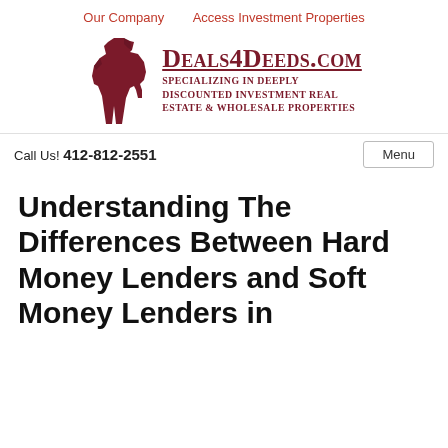Our Company   Access Investment Properties
[Figure (logo): Deals4Deeds.com logo with red Great Dane dog silhouette and text: DEALS4DEEDS.COM Specializing in Deeply Discounted Investment Real Estate & Wholesale Properties]
Call Us! 412-812-2551
Understanding The Differences Between Hard Money Lenders and Soft Money Lenders in